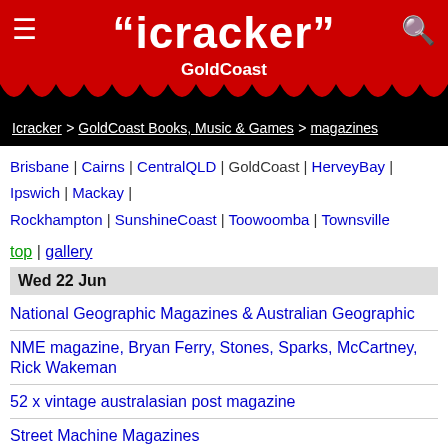"icracker" GoldCoast
Icracker > GoldCoast Books, Music & Games > magazines
Brisbane | Cairns | CentralQLD | GoldCoast | HerveyBay | Ipswich | Mackay | Rockhampton | SunshineCoast | Toowoomba | Townsville
top | gallery
Wed 22 Jun
National Geographic Magazines & Australian Geographic
NME magazine, Bryan Ferry, Stones, Sparks, McCartney, Rick Wakeman
52 x vintage australasian post magazine
Street Machine Magazines